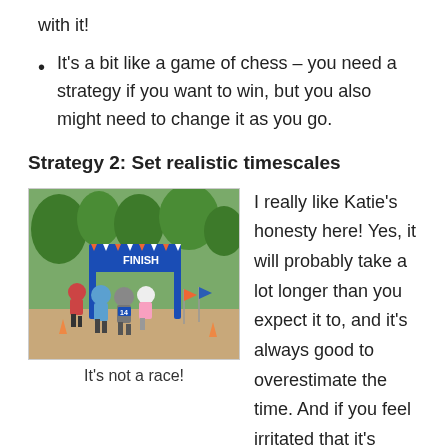with it!
It's a bit like a game of chess – you need a strategy if you want to win, but you also might need to change it as you go.
Strategy 2: Set realistic timescales
[Figure (photo): Runners approaching a blue FINISH line arch in a park race setting. Multiple participants visible from behind, with colorful flags and cones nearby.]
It's not a race!
I really like Katie's honesty here! Yes, it will probably take a lot longer than you expect it to, and it's always good to overestimate the time. And if you feel irritated that it's taking too long, actually, it probably means you are being thorough and doing a great